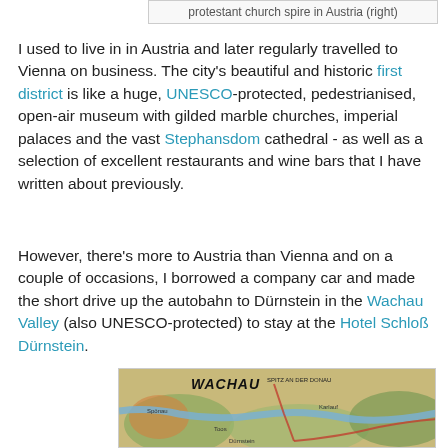protestant church spire in Austria (right)
I used to live in in Austria and later regularly travelled to Vienna on business. The city's beautiful and historic first district is like a huge, UNESCO-protected, pedestrianised, open-air museum with gilded marble churches, imperial palaces and the vast Stephansdom cathedral - as well as a selection of excellent restaurants and wine bars that I have written about previously.
However, there's more to Austria than Vienna and on a couple of occasions, I borrowed a company car and made the short drive up the autobahn to Dürnstein in the Wachau Valley (also UNESCO-protected) to stay at the Hotel Schloß Dürnstein.
[Figure (map): Topographic map of Wachau valley region showing the Danube river and surrounding terrain, labeled WACHAU with place names including Spitz an der Donau]